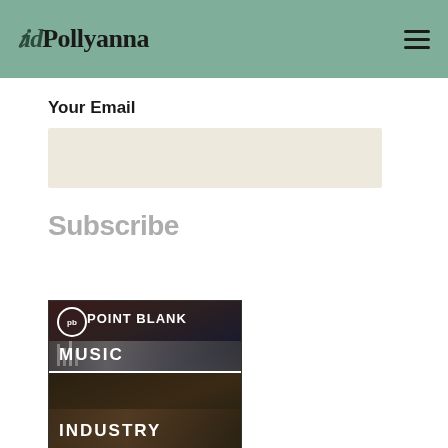Bid Pollyanna
Your Email
[Figure (screenshot): Email subscription input field - empty beige/cream colored text input box]
Subscribe
[Figure (photo): Point Blank Music School advertisement showing a music studio with a mixing board and a person working on production, with sections labeled MUSIC and INDUSTRY]